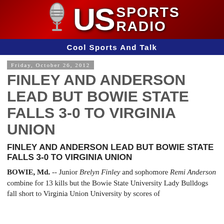[Figure (logo): US Sports Radio banner logo with microphone graphic, red gradient background, and blue tagline bar reading 'Cool Sports And Talk']
Friday, October 26, 2012
FINLEY AND ANDERSON LEAD BUT BOWIE STATE FALLS 3-0 TO VIRGINIA UNION
FINLEY AND ANDERSON LEAD BUT BOWIE STATE FALLS 3-0 TO VIRGINIA UNION
BOWIE, Md. -- Junior Brelyn Finley and sophomore Remi Anderson combine for 13 kills but the Bowie State University Lady Bulldogs fall short to Virginia Union University by scores of